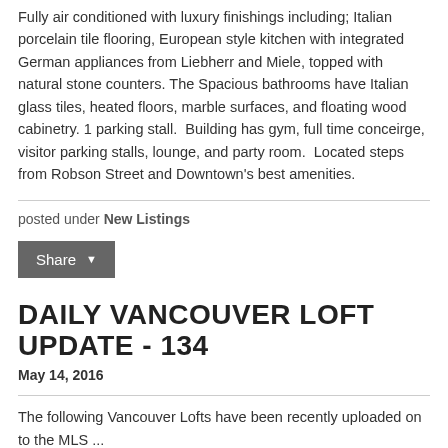Fully air conditioned with luxury finishings including; Italian porcelain tile flooring, European style kitchen with integrated German appliances from Liebherr and Miele, topped with natural stone counters. The Spacious bathrooms have Italian glass tiles, heated floors, marble surfaces, and floating wood cabinetry. 1 parking stall.  Building has gym, full time conceirge, visitor parking stalls, lounge, and party room.  Located steps from Robson Street and Downtown's best amenities.
posted under New Listings
[Figure (other): Share button with dropdown arrow]
DAILY VANCOUVER LOFT UPDATE - 134
May 14, 2016
The following Vancouver Lofts have been recently uploaded on to the MLS ...